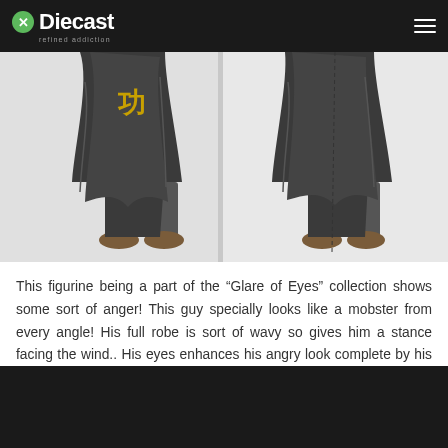Diecast refined addiction
[Figure (photo): Two views of a figurine from the 'Glare of Eyes' collection showing the lower body with a dark flowing robe and brown shoes. Left view shows front with gold symbol on robe, right view shows back/side.]
This figurine being a part of the "Glare of Eyes" collection shows some sort of anger! This guy specially looks like a mobster from every angle! His full robe is sort of wavy so gives him a stance facing the wind.. His eyes enhances his angry look complete by his short hair style.